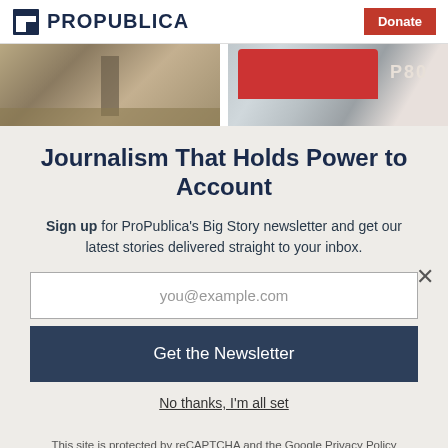ProPublica | Donate
[Figure (photo): Two images side by side: left shows a misty road or railway track lined with trees, right shows a red vehicle with 'P80' branding]
Journalism That Holds Power to Account
Sign up for ProPublica's Big Story newsletter and get our latest stories delivered straight to your inbox.
you@example.com
Get the Newsletter
No thanks, I'm all set
This site is protected by reCAPTCHA and the Google Privacy Policy and Terms of Service apply.